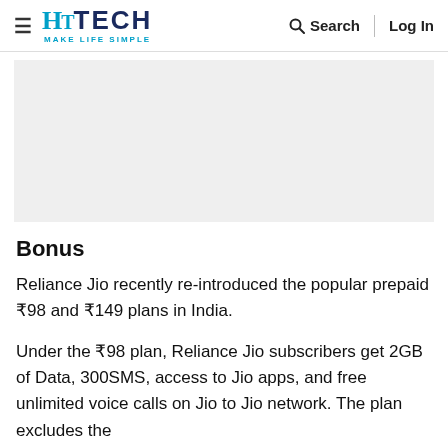HT TECH MAKE LIFE SIMPLE | Search | Log In
[Figure (other): Gray advertisement banner placeholder]
Bonus
Reliance Jio recently re-introduced the popular prepaid ₹98 and ₹149 plans in India.
Under the ₹98 plan, Reliance Jio subscribers get 2GB of Data, 300SMS, access to Jio apps, and free unlimited voice calls on Jio to Jio network. The plan excludes the